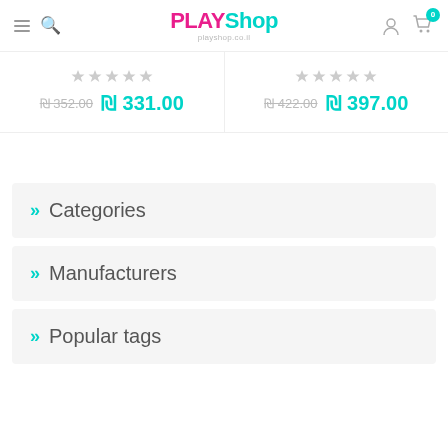PLAYShop - playshop.co.il
₪ 352.00 ₪ 331.00
₪ 422.00 ₪ 397.00
» Categories
» Manufacturers
» Popular tags